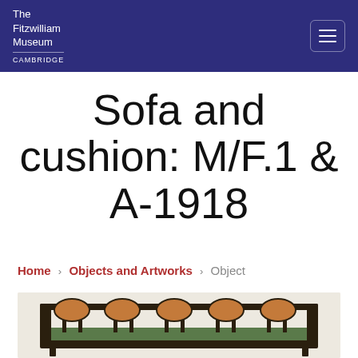The Fitzwilliam Museum CAMBRIDGE
Sofa and cushion: M/F.1 & A-1918
Home › Objects and Artworks › Object
[Figure (photo): Photograph of a dark wooden sofa with decorative oval medallion back panels and green upholstered seat cushion, shown from the front]